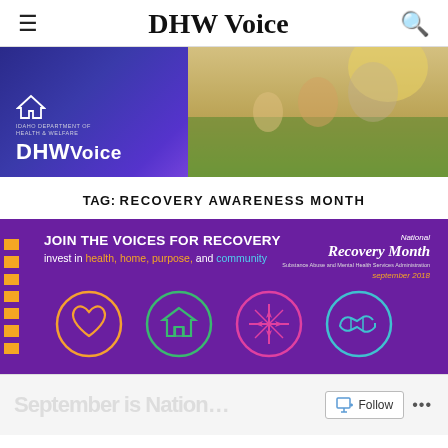DHW Voice
[Figure (illustration): DHW Voice banner with Idaho Department of Health and Welfare logo on dark blue background on left, family photo on right]
TAG: RECOVERY AWARENESS MONTH
[Figure (infographic): National Recovery Month banner: JOIN THE VOICES FOR RECOVERY — invest in health, home, purpose, and community. Purple background with four circle icons (heart, house, star/compass, handshake) and National Recovery Month logo, september 2018]
[Figure (other): Bottom partial content area with Follow button]